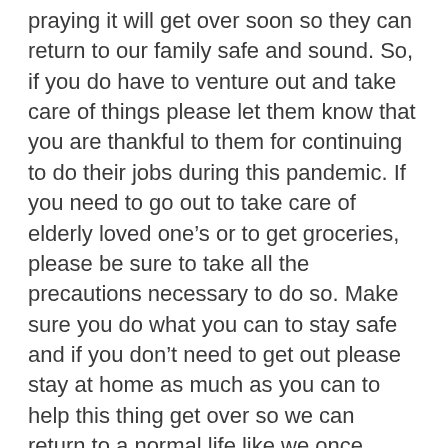praying it will get over soon so they can return to our family safe and sound. So, if you do have to venture out and take care of things please let them know that you are thankful to them for continuing to do their jobs during this pandemic. If you need to go out to take care of elderly loved one's or to get groceries, please be sure to take all the precautions necessary to do so. Make sure you do what you can to stay safe and if you don't need to get out please stay at home as much as you can to help this thing get over so we can return to a normal life like we once hand before all this.
May the Lord Bless & Keep Us All! Bill Barnhart MAREC President